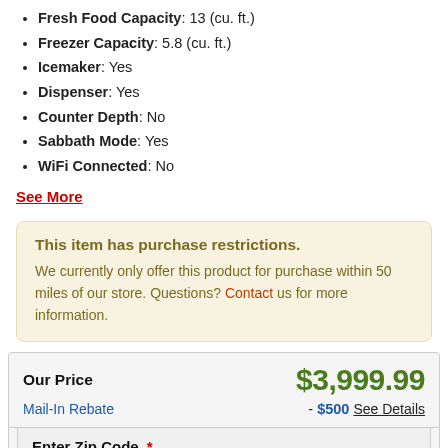Fresh Food Capacity: 13 (cu. ft.)
Freezer Capacity: 5.8 (cu. ft.)
Icemaker: Yes
Dispenser: Yes
Counter Depth: No
Sabbath Mode: Yes
WiFi Connected: No
See More
This item has purchase restrictions. We currently only offer this product for purchase within 50 miles of our store. Questions? Contact us for more information.
Our Price $3,999.99 Mail-In Rebate - $500 See Details
Enter Zip Code * For delivery options and item availability.